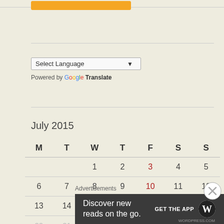[Figure (screenshot): Orange button at top of page]
Select Language (dropdown)
Powered by Google Translate
| M | T | W | T | F | S | S |
| --- | --- | --- | --- | --- | --- | --- |
|  |  | 1 | 2 | 3 | 4 | 5 |
| 6 | 7 | 8 | 9 | 10 | 11 | 12 |
| 13 | 14 | 15 | 16 | 17 | 18 | 19 |
| 20 | 21 | 22 | 23 | 24 | 25 | 26 |
Advertisements
Discover new reads on the go. GET THE APP